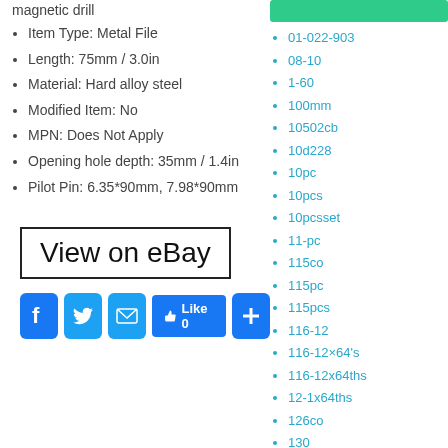magnetic drill
Item Type: Metal File
Length: 75mm / 3.0in
Material: Hard alloy steel
Modified Item: No
MPN: Does Not Apply
Opening hole depth: 35mm / 1.4in
Pilot Pin: 6.35*90mm, 7.98*90mm
[Figure (other): View on eBay button with black border]
[Figure (other): Social media sharing buttons: Facebook, Twitter, Email, Like 0, Plus]
01-022-903
08-10
1-60
100mm
10502cb
10d228
10pc
10pcs
10pcsset
11-pc
115co
115pc
115pcs
116-12
116-12×64's
116-12x64ths
12-1x64ths
126co
130